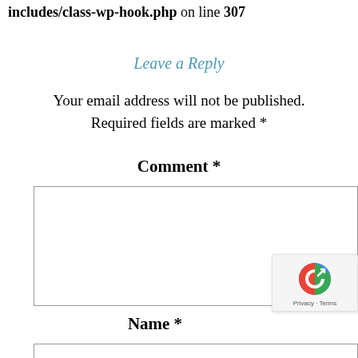includes/class-wp-hook.php on line 307
Leave a Reply
Your email address will not be published. Required fields are marked *
Comment *
Name *